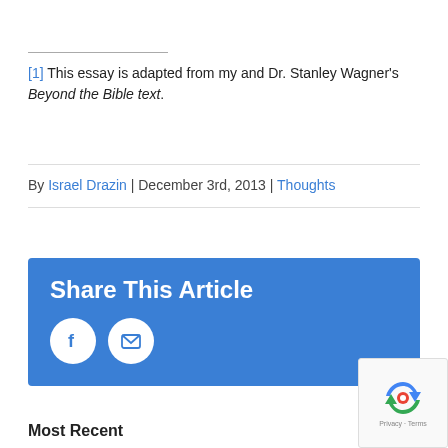[1] This essay is adapted from my and Dr. Stanley Wagner's Beyond the Bible text.
By Israel Drazin | December 3rd, 2013 | Thoughts
[Figure (infographic): Share This Article box with Facebook and email icons on blue background]
Most Recent